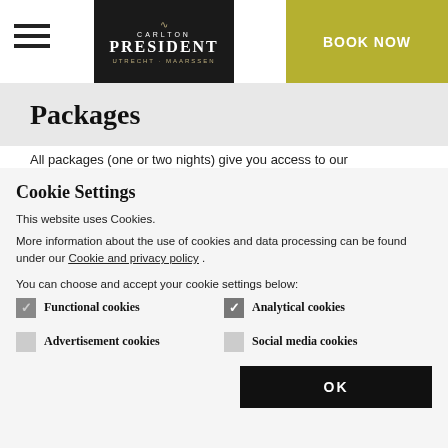[Figure (logo): Carlton President Utrecht Maarssen hotel logo on black background]
[Figure (other): Book Now button in olive/gold color]
Packages
All packages (one or two nights) give you access to our
Cookie Settings
This website uses Cookies.
More information about the use of cookies and data processing can be found under our Cookie and privacy policy .
You can choose and accept your cookie settings below:
Functional cookies (checked)
Analytical cookies (checked)
Advertisement cookies (unchecked)
Social media cookies (unchecked)
[Figure (other): OK button in black]